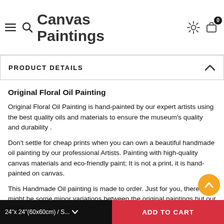Canvas Paintings
PRODUCT DETAILS
Original Floral Oil Painting
Original Floral Oil Painting is hand-painted by our expert artists using the best quality oils and materials to ensure the museum's quality and durability .
Don't settle for cheap prints when you can own a beautiful handmade oil painting by our professional Artists. Painting with high-quality canvas materials and eco-friendly paint; It is not a print, it is hand-painted on canvas.
This Handmade Oil painting is made to order. Just for you, there might be some minor variations between the original paintings but our artist uses the best endeavor to replicate as closely as possible the original design.
24"x 24"(60x60cm) / S...    ADD TO CART